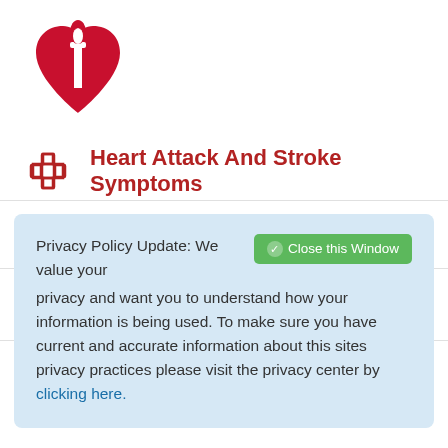[Figure (logo): American Heart Association logo — red heart with torch/flame icon]
Heart Attack And Stroke Symptoms
Volunteer
Donate
Privacy Policy Update: We value your privacy and want you to understand how your information is being used. To make sure you have current and accurate information about this sites privacy practices please visit the privacy center by clicking here.